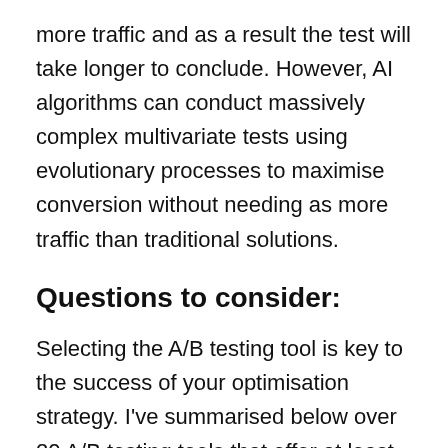more traffic and as a result the test will take longer to conclude. However, AI algorithms can conduct massively complex multivariate tests using evolutionary processes to maximise conversion without needing as more traffic than traditional solutions.
Questions to consider:
Selecting the A/B testing tool is key to the success of your optimisation strategy. I've summarised below over 20 A/B testing tools that offer at least basic testing capabilities. When deciding on an A/B testing tool it's worth